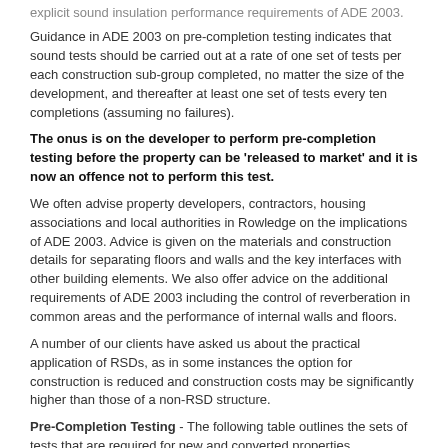explicit sound insulation performance requirements of ADE 2003.
Guidance in ADE 2003 on pre-completion testing indicates that sound tests should be carried out at a rate of one set of tests per each construction sub-group completed, no matter the size of the development, and thereafter at least one set of tests every ten completions (assuming no failures).
The onus is on the developer to perform pre-completion testing before the property can be 'released to market' and it is now an offence not to perform this test.
We often advise property developers, contractors, housing associations and local authorities in Rowledge on the implications of ADE 2003. Advice is given on the materials and construction details for separating floors and walls and the key interfaces with other building elements. We also offer advice on the additional requirements of ADE 2003 including the control of reverberation in common areas and the performance of internal walls and floors.
A number of our clients have asked us about the practical application of RSDs, as in some instances the option for construction is reduced and construction costs may be significantly higher than those of a non-RSD structure.
Pre-Completion Testing - The following table outlines the sets of tests that are required for new and converted properties.
| Property Types | Test Requirements |
| --- | --- |
| Dwelling- | Normally, one set of tests will comprise of 2 |